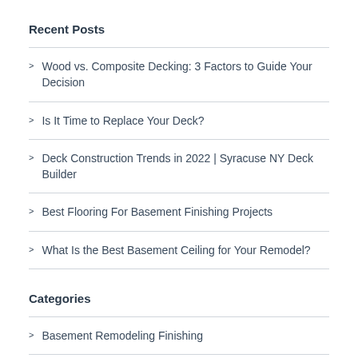Recent Posts
Wood vs. Composite Decking: 3 Factors to Guide Your Decision
Is It Time to Replace Your Deck?
Deck Construction Trends in 2022 | Syracuse NY Deck Builder
Best Flooring For Basement Finishing Projects
What Is the Best Basement Ceiling for Your Remodel?
Categories
Basement Remodeling Finishing